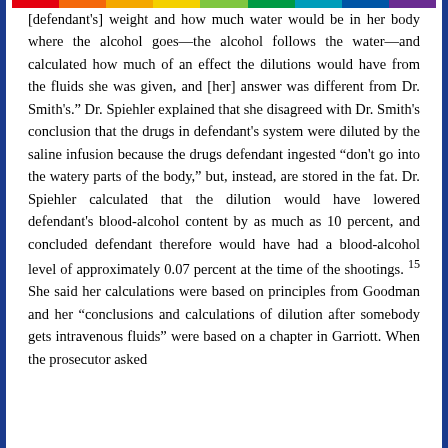[defendant's] weight and how much water would be in her body where the alcohol goes—the alcohol follows the water—and calculated how much of an effect the dilutions would have from the fluids she was given, and [her] answer was different from Dr. Smith's." Dr. Spiehler explained that she disagreed with Dr. Smith's conclusion that the drugs in defendant's system were diluted by the saline infusion because the drugs defendant ingested "don't go into the watery parts of the body," but, instead, are stored in the fat. Dr. Spiehler calculated that the dilution would have lowered defendant's blood-alcohol content by as much as 10 percent, and concluded defendant therefore would have had a blood-alcohol level of approximately 0.07 percent at the time of the shootings. 15 She said her calculations were based on principles from Goodman and her "conclusions and calculations of dilution after somebody gets intravenous fluids" were based on a chapter in Garriott. When the prosecutor asked